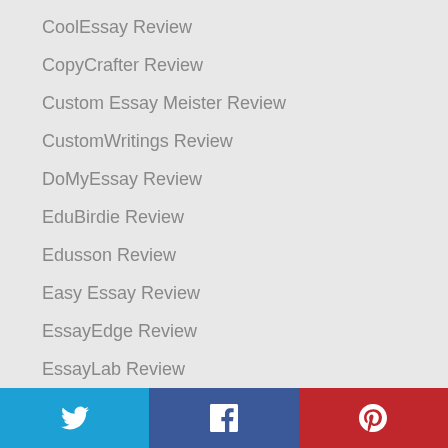CoolEssay Review
CopyCrafter Review
Custom Essay Meister Review
CustomWritings Review
DoMyEssay Review
EduBirdie Review
Edusson Review
Easy Essay Review
EssayEdge Review
EssayLab Review
EssayOnTime Review
[Figure (infographic): Social media share buttons: Twitter (blue), Facebook (dark blue), Pinterest (red)]